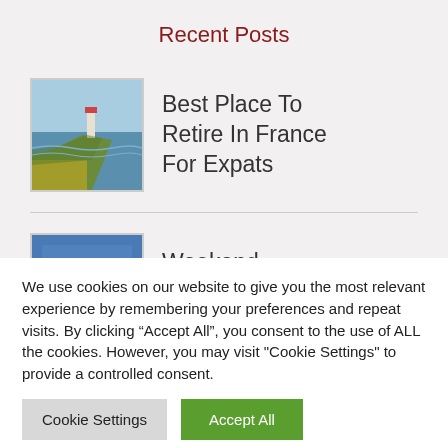Recent Posts
[Figure (photo): Thumbnail of coastal cliff with lighthouse and yellow flowers, sea in background]
Best Place To Retire In France For Expats
[Figure (photo): Thumbnail of blue scene, partially visible]
Weekend
We use cookies on our website to give you the most relevant experience by remembering your preferences and repeat visits. By clicking “Accept All”, you consent to the use of ALL the cookies. However, you may visit "Cookie Settings" to provide a controlled consent.
Cookie Settings
Accept All